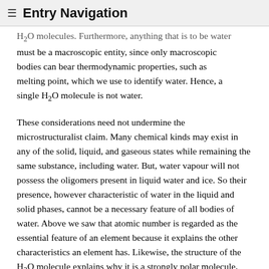≡ Entry Navigation
H₂O molecules. Furthermore, anything that is to be water must be a macroscopic entity, since only macroscopic bodies can bear thermodynamic properties, such as melting point, which we use to identify water. Hence, a single H₂O molecule is not water.
These considerations need not undermine the microstructuralist claim. Many chemical kinds may exist in any of the solid, liquid, and gaseous states while remaining the same substance, including water. But, water vapour will not possess the oligomers present in liquid water and ice. So their presence, however characteristic of water in the liquid and solid phases, cannot be a necessary feature of all bodies of water. Above we saw that atomic number is regarded as the essential feature of an element because it explains the other characteristics an element has. Likewise, the structure of the H₂O molecule explains why it is a strongly polar molecule, which in turn explains why it tends to form oligomers. As regards thermodynamic properties, Hendry (2006) points out that we say that water is contained in a person's body, without